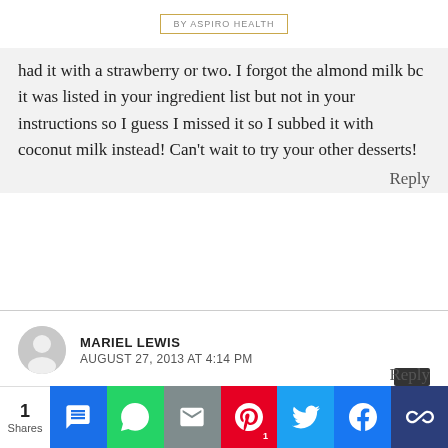BY ASPIRO HEALTH
had it with a strawberry or two. I forgot the almond milk bc it was listed in your ingredient list but not in your instructions so I guess I missed it so I subbed it with coconut milk instead! Can't wait to try your other desserts!
Reply
MARIEL LEWIS
AUGUST 27, 2013 AT 4:14 PM
You're right, I did forget to mention the almond milk on the instructions. I just added it; thanks for making me aware of it. I am glad you liked my protein mug cake...mug cakes are fun to make, aren't they!?
Reply